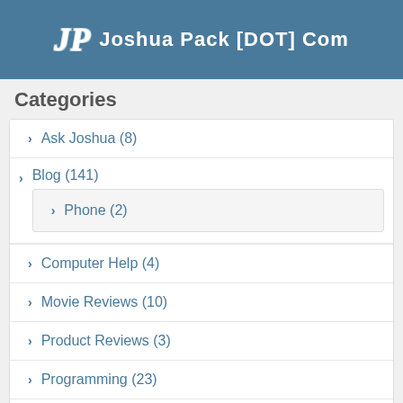JP Joshua Pack [DOT] Com
Categories
Ask Joshua (8)
Blog (141)
Phone (2)
Computer Help (4)
Movie Reviews (10)
Product Reviews (3)
Programming (23)
Videos (39)
Dave Trader (9)